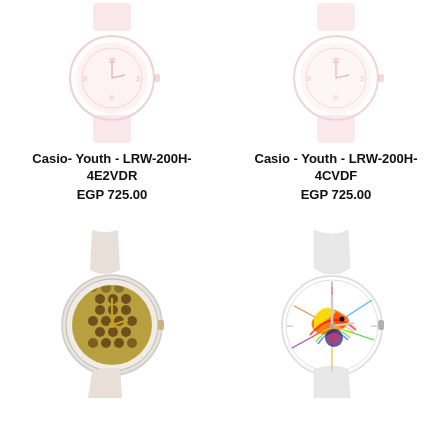[Figure (photo): Casio Youth LRW-200H-4E2VDR watch, faded/cropped pink dial, top-left]
Casio- Youth - LRW-200H-4E2VDR
EGP 725.00
[Figure (photo): Casio Youth LRW-200H-4CVDF watch, faded/cropped pink dial, top-right]
Casio - Youth - LRW-200H-4CVDF
EGP 725.00
[Figure (photo): Swatch watch with white/beige strap and gold honeycomb/circles dial, bottom-left]
[Figure (photo): Swatch watch with clear/transparent strap and colorful abstract dial, bottom-right]